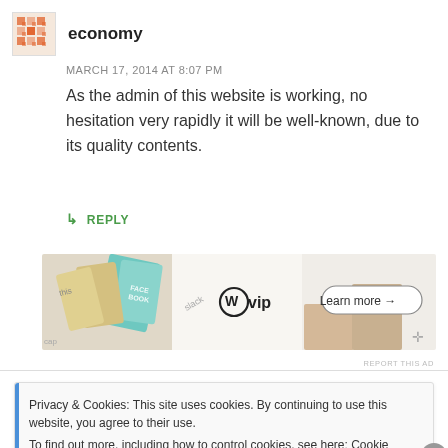economy
MARCH 17, 2014 AT 8:07 PM
As the admin of this website is working, no hesitation very rapidly it will be well-known, due to its quality contents.
↳ REPLY
[Figure (screenshot): WordPress VIP advertisement banner with colorful card graphics and 'Learn more →' button]
REPORT THIS AD
Privacy & Cookies: This site uses cookies. By continuing to use this website, you agree to their use.
To find out more, including how to control cookies, see here: Cookie Policy
Close and accept